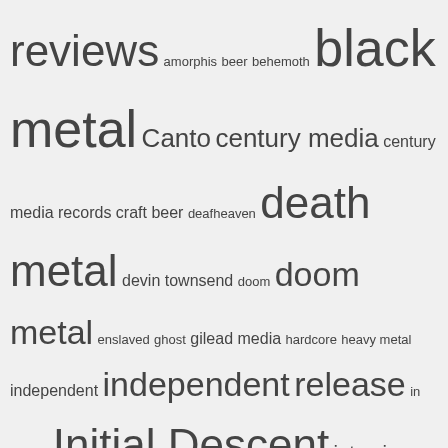[Figure (infographic): Tag cloud for a metal music blog showing terms of varying sizes indicating frequency/importance. Terms include: reviews, amorphis, beer, behemoth, black metal, Canto, century media, century media records, craft beer, deafheaven, death metal, devin townsend, doom, doom metal, enslaved, ghost, gilead media, hardcore, heavy metal, independent, independent release, in flames, Initial Descent, interviews, iron maiden, lamb of god, mastodon, megadeth, metal, metal blade records, metallica, napalm records, new releases, Nine Circles ov..., nuclear blast, nuclear blast records, pelagic records, Playlists, podcast, post-metal, power metal, profile, profound lore, progressive metal, prosthetic records, rainbows in the dark, rammstein, Receiving the Evcharist]